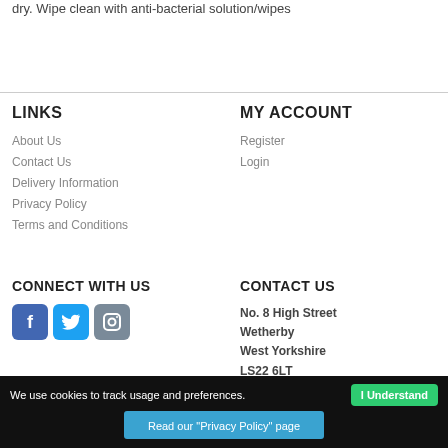dry. Wipe clean with anti-bacterial solution/wipes
LINKS
About Us
Contact Us
Delivery Information
Privacy Policy
Terms and Conditions
MY ACCOUNT
Register
Login
CONNECT WITH US
[Figure (other): Social media icons: Facebook, Twitter, Instagram]
CONTACT US
No. 8 High Street
Wetherby
West Yorkshire
LS22 6LT
treasurestoysno.8@gmail.com
01937 589187
We use cookies to track usage and preferences.
Read our "Privacy Policy" page